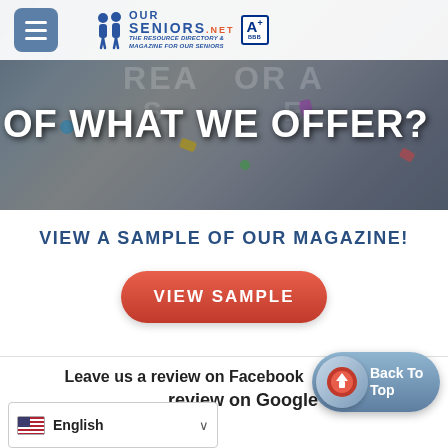[Figure (screenshot): Website header bar with hamburger menu, OurSeniors.net logo with BBB A+ badge]
[Figure (photo): Hero banner photo of seniors celebrating with confetti, overlaid with large white text reading 'OF WHAT WE OFFER?'. Faded background text also visible.]
VIEW A SAMPLE OF OUR MAGAZINE!
[Figure (other): Red rounded button labeled VIEW SAMPLE]
Leave us a review on Facebook
review on Google
[Figure (other): Blue rounded 'Back To Top' button with red/white circular arrow icon]
[Figure (other): Language selector dropdown showing English with US flag]